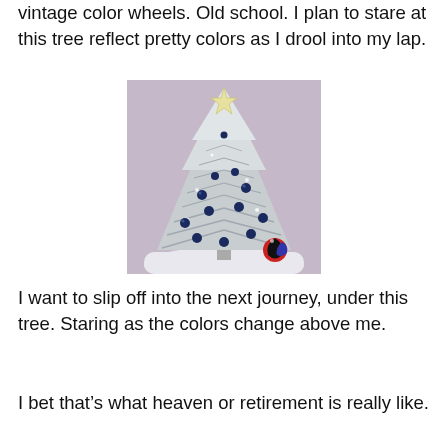vintage color wheels. Old school. I plan to stare at this tree reflect pretty colors as I drool into my lap.
[Figure (photo): A silver aluminum Christmas tree decorated with dark blue/navy ornaments, set against a mottled purple-gray background. A colorful red, black, and blue ornament sits at the base right. The tree sits on white fabric/snow-like material.]
I want to slip off into the next journey, under this tree. Staring as the colors change above me.
I bet that’s what heaven or retirement is really like.